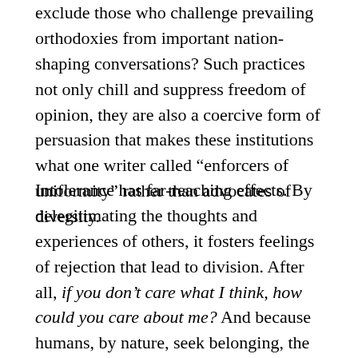exclude those who challenge prevailing orthodoxies from important nation-shaping conversations? Such practices not only chill and suppress freedom of opinion, they are also a coercive form of persuasion that makes these institutions what one writer called “enforcers of uniformity” rather than advocates of diversity.
Intolerance has far-reaching effects. By delegitimating the thoughts and experiences of others, it fosters feelings of rejection that lead to division. After all, if you don’t care what I think, how could you care about me? And because humans, by nature, seek belonging, the excluded will seek spaces of acceptance where they can express themselves. These spaces become their own ecosystem, developing quite apart from “the mainstream.” The